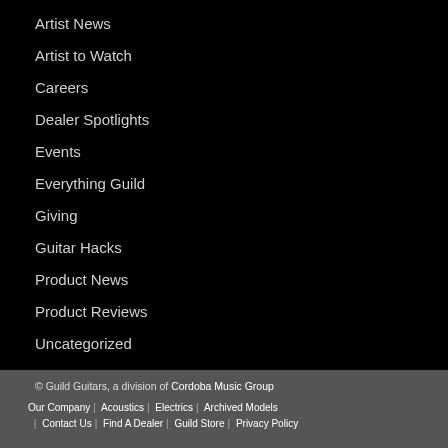Artist News
Artist to Watch
Careers
Dealer Spotlights
Events
Everything Guild
Giving
Guitar Hacks
Product News
Product Reviews
Uncategorized
© Guild Guitars, a division of Cordoba Music Group | Our Company | Acoustics | Electrics | Archived Models | Contact Us | Find A Dealer | Guild Store | Privacy Policy